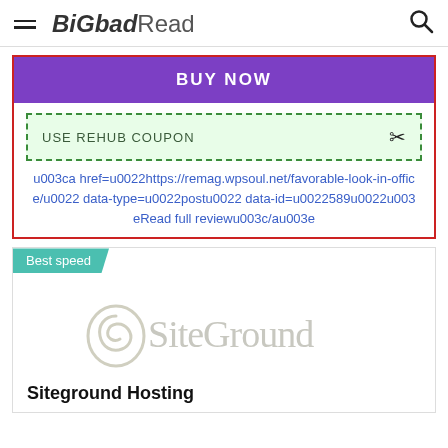BiGbadRead
BUY NOW
USE REHUB COUPON
u003ca href=u0022https://remag.wpsoul.net/favorable-look-in-office/u0022 data-type=u0022postu0022 data-id=u0022589u0022u003eRead full reviewu003c/au003e
Best speed
[Figure (logo): SiteGround logo in light gray with swirl icon]
Siteground Hosting